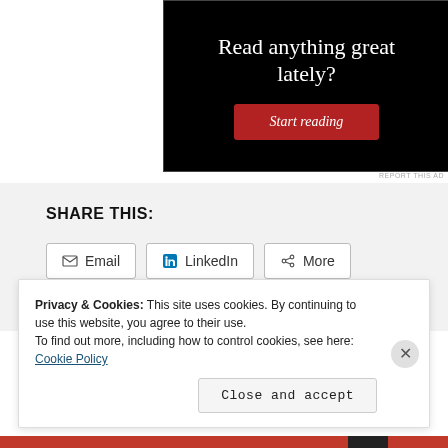[Figure (other): Black advertisement banner with text 'Read anything great lately?' and a red 'Start reading' button]
REPORT THIS AD
SHARE THIS:
Email   LinkedIn   More
Privacy & Cookies: This site uses cookies. By continuing to use this website, you agree to their use.
To find out more, including how to control cookies, see here: Cookie Policy
Close and accept